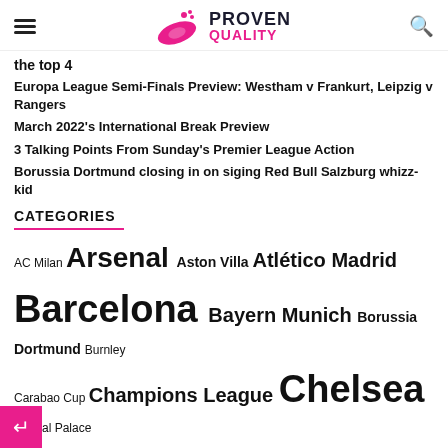PROVEN QUALITY
the top 4
Europa League Semi-Finals Preview: Westham v Frankurt, Leipzig v Rangers
March 2022's International Break Preview
3 Talking Points From Sunday's Premier League Action
Borussia Dortmund closing in on siging Red Bull Salzburg whizz-kid
CATEGORIES
AC Milan Arsenal Aston Villa Atlético Madrid Barcelona Bayern Munich Borussia Dortmund Burnley Carabao Cup Champions League Chelsea Crystal Palace England Euro 2020 Everton Features France Germany Inter Milan Italy Juventus La Liga Leeds United Leicester Liverpool Lyon Manchester City Manchester United Monaco Napoli Newcastle